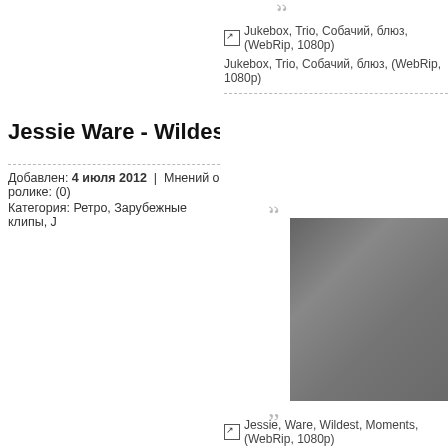Jukebox, Trio, Собачий, блюз, (WebRip, 1080p)
Jukebox, Trio, Собачий, блюз, (WebRip, 1080p)
Jessie Ware - Wildest Moments
Добавлен: 4 июля 2012  |  Мнений о ролике: (0)
Категория: Ретро, Зарубежные клипы, J
[Figure (photo): Video thumbnail showing a person's side profile against a gray background]
Jessie, Ware, Wildest, Moments, (WebRip, 1080p)
Jessie, Ware, Wildest, Moments, (WebRip, 1080p)